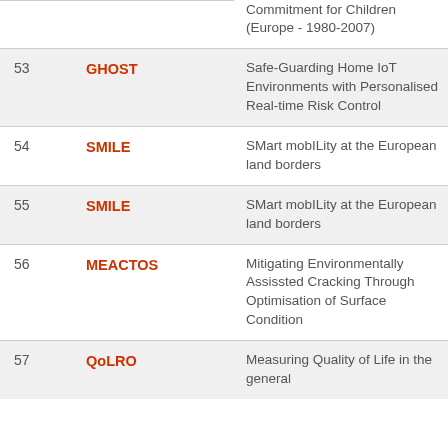| # | Acronym | Full Name |
| --- | --- | --- |
|  |  | Commitment for Children (Europe - 1980-2007) |
| 53 | GHOST | Safe-Guarding Home IoT Environments with Personalised Real-time Risk Control |
| 54 | SMILE | SMart mobILity at the European land borders |
| 55 | SMILE | SMart mobILity at the European land borders |
| 56 | MEACTOS | Mitigating Environmentally Assissted Cracking Through Optimisation of Surface Condition |
| 57 | QoLRO | Measuring Quality of Life in the general... |